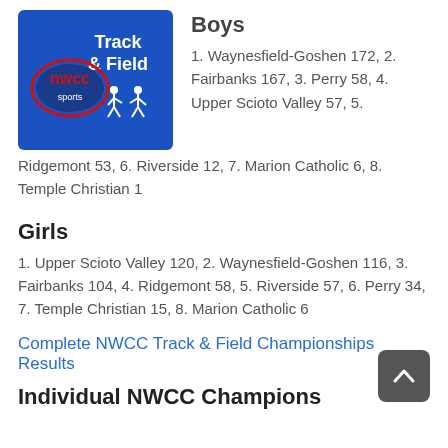[Figure (logo): NWCC Sports Track & Field logo — blue background with white text 'Track & Field', NWCC sports oval logo in red/dark blue, and white silhouette runners]
Boys
1. Waynesfield-Goshen 172, 2. Fairbanks 167, 3. Perry 58, 4. Upper Scioto Valley 57, 5. Ridgemont 53, 6. Riverside 12, 7. Marion Catholic 6, 8. Temple Christian 1
Girls
1. Upper Scioto Valley 120, 2. Waynesfield-Goshen 116, 3. Fairbanks 104, 4. Ridgemont 58, 5. Riverside 57, 6. Perry 34, 7. Temple Christian 15, 8. Marion Catholic 6
Complete NWCC Track & Field Championships Results
Individual NWCC Champions